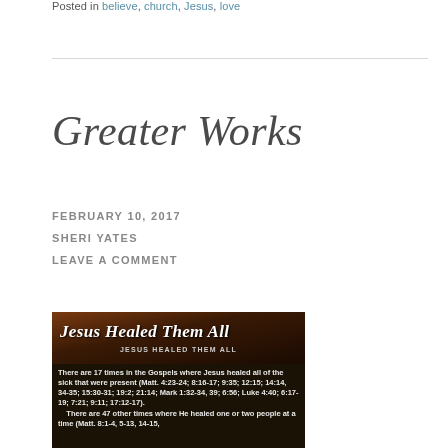Posted in believe, church, Jesus, love
Greater Works
FEBRUARY 10, 2017
SHERI YATES
LEAVE A COMMENT
[Figure (photo): A photo of a book or poster titled 'Jesus Healed Them All' with script lettering, over a dark background, containing text: 'There are 17 times in the Gospels where Jesus healed all of the sick that were present (Matt. 4:23-24; 8:16-17; 9:35; 12:15; 14:14, 34-35; 15:30-31; 19:2; 21:14; Mark 1:32-34, 39; 6:56; Luke 4:40; 6:17-19; 7:21; 9:11; 17:12-17). There are 47 other times where He healed one or two people at a time (Matt. 8:1-4, 5-13, 14-15, ...']